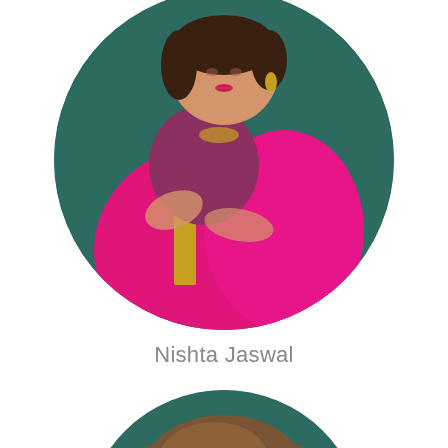[Figure (photo): Circular profile photo of Nishta Jaswal, a woman wearing a bright pink/magenta saree with gold border, arms crossed, against a dark teal background. Only upper body and head visible, face slightly cut off at top.]
Nishta Jaswal
[Figure (photo): Circular profile photo (partially visible, bottom half cut off by page edge) of a woman with brown hair against a dark teal background. Only the top portion of the circle and hair visible.]